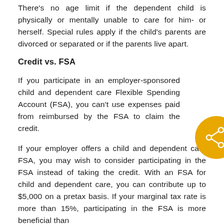There's no age limit if the dependent child is physically or mentally unable to care for him- or herself. Special rules apply if the child's parents are divorced or separated or if the parents live apart.
Credit vs. FSA
If you participate in an employer-sponsored child and dependent care Flexible Spending Account (FSA), you can't use expenses paid from reimbursed by the FSA to claim the credit.
If your employer offers a child and dependent care FSA, you may wish to consider participating in the FSA instead of taking the credit. With an FSA for child and dependent care, you can contribute up to $5,000 on a pretax basis. If your marginal tax rate is more than 15%, participating in the FSA is more beneficial than